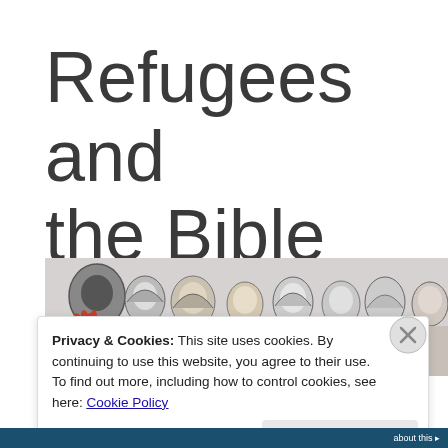Refugees and the Bible
[Figure (illustration): Black and white illustration of a crowd of diverse people including men, women and children, some wearing headscarves; a red heart shape is superimposed on one figure in the foreground.]
Privacy & Cookies: This site uses cookies. By continuing to use this website, you agree to their use.
To find out more, including how to control cookies, see here: Cookie Policy
Close and accept